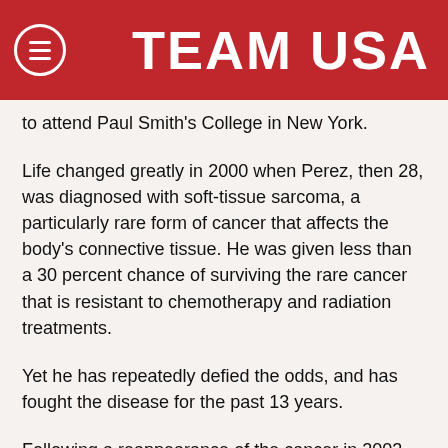TEAM USA
to attend Paul Smith's College in New York.
Life changed greatly in 2000 when Perez, then 28, was diagnosed with soft-tissue sarcoma, a particularly rare form of cancer that affects the body's connective tissue. He was given less than a 30 percent chance of surviving the rare cancer that is resistant to chemotherapy and radiation treatments.
Yet he has repeatedly defied the odds, and has fought the disease for the past 13 years.
Following a reappearance of the cancer in 2003, the decision was made to amputate his left leg in an effort to save his life. It didn't take long for Perez to adapt to life as a hip-disarticulated amputee however, and he soon took